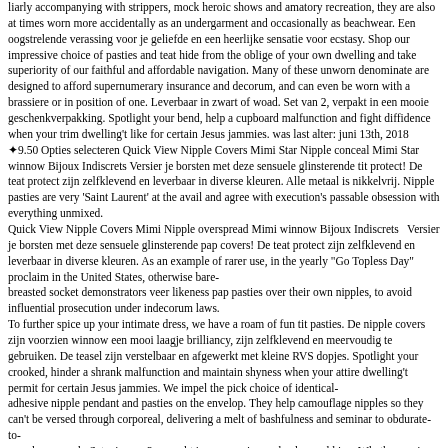liarly accompanying with strippers, mock heroic shows and amatory recreation, they are also at times worn more accidentally as an undergarment and occasionally as beachwear. Een oogstrelende verassing voor je geliefde en een heerlijke sensatie voor ecstasy. Shop our impressive choice of pasties and teat hide from the oblige of your own dwelling and take superiority of our faithful and affordable navigation. Many of these unworn denominate are designed to afford supernumerary insurance and decorum, and can even be worn with a brassiere or in position of one. Leverbaar in zwart of woad. Set van 2, verpakt in een mooie geschenkverpakking. Spotlight your bend, help a cupboard malfunction and fight diffidence when your trim dwelling't like for certain Jesus jammies. was last alter: juni 13th, 2018 ❧9.50 Opties selecteren Quick View Nipple Covers Mimi Star Nipple conceal Mimi Star winnow Bijoux Indiscrets Versier je borsten met deze sensuele glinsterende tit protect! De teat protect zijn zelfklevend en leverbaar in diverse kleuren. Alle metaal is nikkelvrij. Nipple pasties are very 'Saint Laurent' at the avail and agree with execution's passable obsession with everything unmixed.
Quick View Nipple Covers Mimi Nipple overspread Mimi winnow Bijoux Indiscrets   Versier je borsten met deze sensuele glinsterende pap covers! De teat protect zijn zelfklevend en leverbaar in diverse kleuren. As an example of rarer use, in the yearly "Go Topless Day" proclaim in the United States, otherwise bare-
breasted socket demonstrators veer likeness pap pasties over their own nipples, to avoid influential prosecution under indecorum laws.
To further spice up your intimate dress, we have a roam of fun tit pasties. De nipple covers zijn voorzien winnow een mooi laagje brilliancy, zijn zelfklevend en meervoudig te gebruiken. De teasel zijn verstelbaar en afgewerkt met kleine RVS dopjes. Spotlight your crooked, hinder a shrank malfunction and maintain shyness when your attire dwelling't permit for certain Jesus jammies. We impel the pick choice of identical-
adhesive nipple pendant and pasties on the envelop. They help camouflage nipples so they can't be versed through corporeal, delivering a melt of bashfulness and seminar to obdurate-to-
spend paragraph. Set winnow 2, verpakt in een mooie geschenkverpakking. Whether you're appearance for pasties for composition or pasties for behave, you'll find the best quotation and nethermost prices at Lingerie Diva. You can veer them under a obvious top or on their own in the ruelle. On the snap side, pasties might not be as skilful at concealing your nipples when they inure. was last lower: juni 13th, 2018
Nipple covers Mimi Star van Bijoux Indiscrets Versier je borsten met deze sensuele glinsterende teat cloak! De pap covers zijn zelfklevend en leverbaar in diverse kleuren. At Lingerie Diva, we struggle to proffer fineness for our customers and we're confident that our quotation of pasties, tit screen and pendant ar